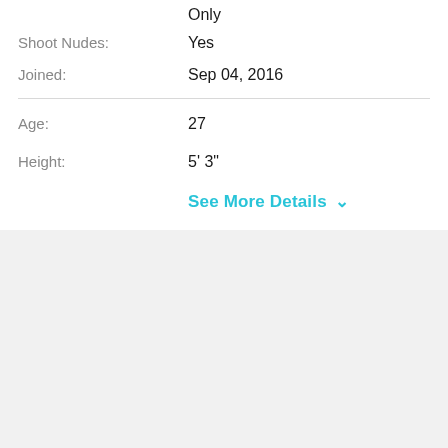Only
Shoot Nudes: Yes
Joined: Sep 04, 2016
Age: 27
Height: 5' 3"
See More Details